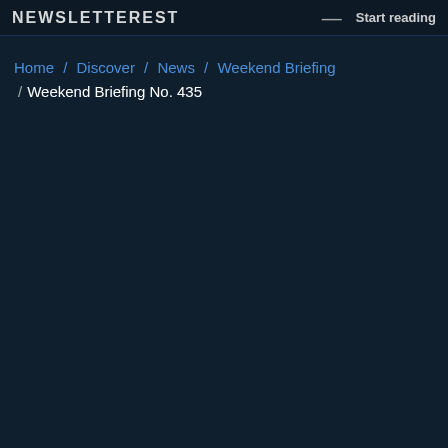NEWSLETTEREST — Start reading
Home / Discover / News / Weekend Briefing / Weekend Briefing No. 435